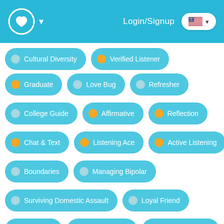Login/Signup
Cultural Diversity
Verified Listener
Graduate
Love Bug
Refresher
College Guide
Affirmative
Reflection
Chat & Text
Listening Ace
Active Listening
Boundaries
Managing Bipolar
Surviving Domestic Assault
Loyal Friend
Tick Tock
Fellow Friend
Steadfast Soul I
Reconnection Hero I
First Chat
First Post